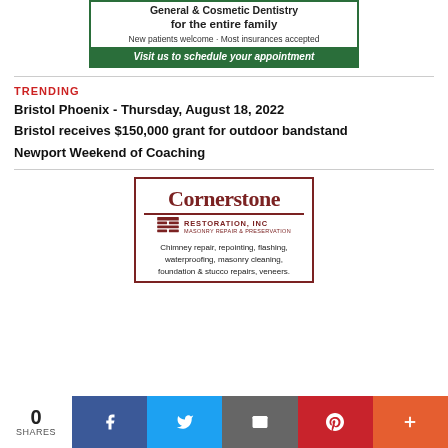[Figure (advertisement): Dental practice ad: General & Cosmetic Dentistry for the entire family. New patients welcome. Most insurances accepted. Green bar: Visit us to schedule your appointment.]
TRENDING
Bristol Phoenix - Thursday, August 18, 2022
Bristol receives $150,000 grant for outdoor bandstand
Newport Weekend of Coaching
[Figure (advertisement): Cornerstone Restoration, Inc. Masonry Repair & Preservation. Chimney repair, repointing, flashing, waterproofing, masonry cleaning, foundation & stucco repairs, veneers.]
0 SHARES | Facebook | Twitter | Email | Pinterest | More